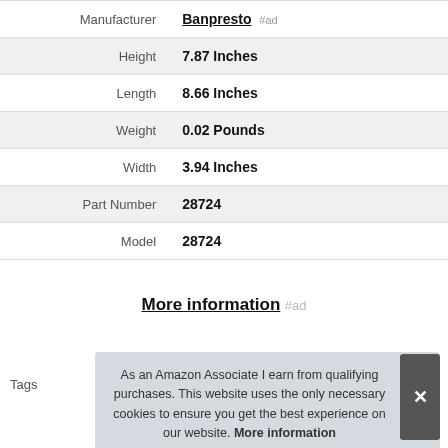| Attribute | Value |
| --- | --- |
| Manufacturer | Banpresto #ad |
| Height | 7.87 Inches |
| Length | 8.66 Inches |
| Weight | 0.02 Pounds |
| Width | 3.94 Inches |
| Part Number | 28724 |
| Model | 28724 |
More information #ad
Tags
As an Amazon Associate I earn from qualifying purchases. This website uses the only necessary cookies to ensure you get the best experience on our website. More information